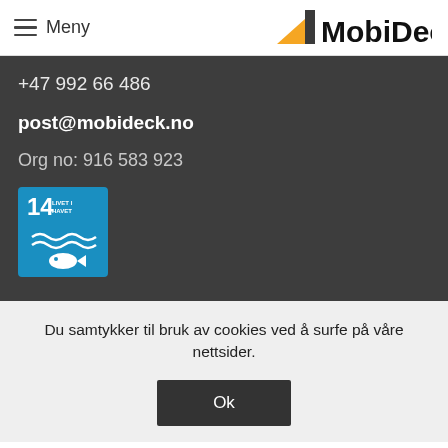≡ Meny | MobiDeck
+47 992 66 486
post@mobideck.no
Org no: 916 583 923
[Figure (logo): UN SDG Goal 14 - Livet i havet (Life below water) blue badge with fish and waves icon]
Du samtykker til bruk av cookies ved å surfe på våre nettsider.
Ok